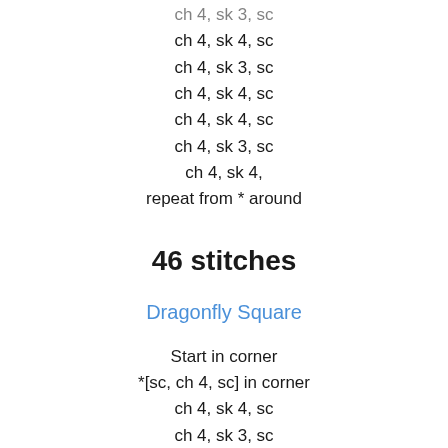ch 4, sk 3, sc
ch 4, sk 4, sc
ch 4, sk 3, sc
ch 4, sk 4, sc
ch 4, sk 4, sc
ch 4, sk 3, sc
ch 4, sk 4,
repeat from * around
46 stitches
Dragonfly Square
Start in corner
*[sc, ch 4, sc] in corner
ch 4, sk 4, sc
ch 4, sk 3, sc
ch 4, sk 4, sc